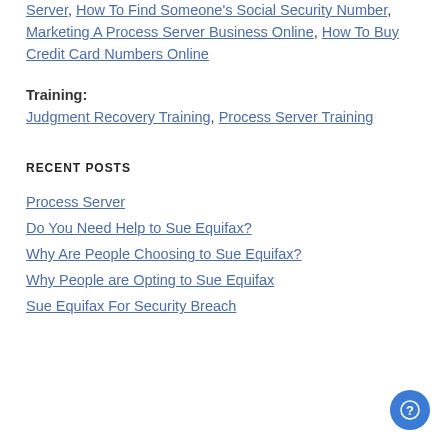Server, How To Find Someone's Social Security Number, Marketing A Process Server Business Online, How To Buy Credit Card Numbers Online
Training:
Judgment Recovery Training, Process Server Training
RECENT POSTS
Process Server
Do You Need Help to Sue Equifax?
Why Are People Choosing to Sue Equifax?
Why People are Opting to Sue Equifax
Sue Equifax For Security Breach